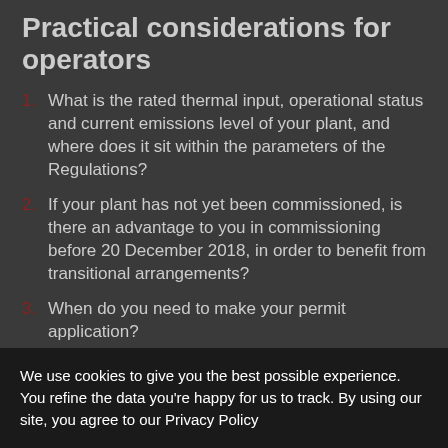Practical considerations for operators
What is the rated thermal input, operational status and current emissions level of your plant, and where does it sit within the parameters of the Regulations?
If your plant has not yet been commissioned, is there an advantage to you in commissioning before 20 December 2018, in order to benefit from transitional arrangements?
When do you need to make your permit application?
We use cookies to give you the best possible experience. You refine the data you're happy for us to track. By using our site, you agree to our Privacy Policy